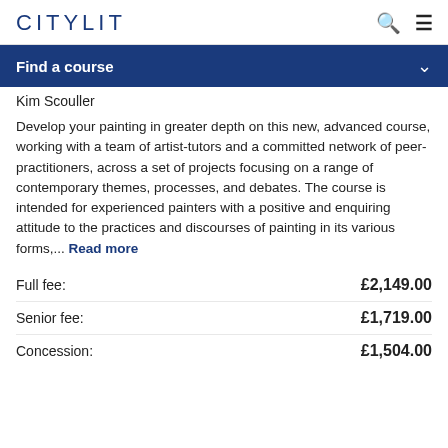CITYLIT
Find a course
Kim Scouller
Develop your painting in greater depth on this new, advanced course, working with a team of artist-tutors and a committed network of peer-practitioners, across a set of projects focusing on a range of contemporary themes, processes, and debates. The course is intended for experienced painters with a positive and enquiring attitude to the practices and discourses of painting in its various forms,... Read more
| Fee type | Amount |
| --- | --- |
| Full fee: | £2,149.00 |
| Senior fee: | £1,719.00 |
| Concession: | £1,504.00 |